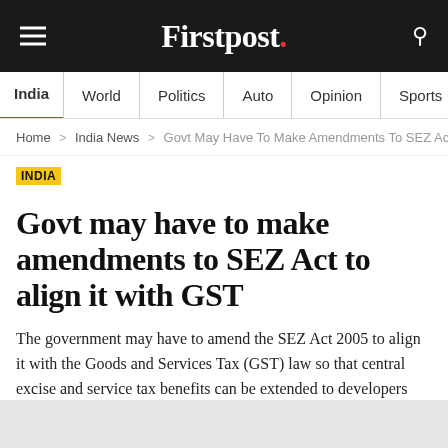Firstpost.
India | World | Politics | Auto | Opinion | Sports | Explainers
Home > India News > Govt May Have To Make Amendments To SEZ Act To A...
INDIA
Govt may have to make amendments to SEZ Act to align it with GST
The government may have to amend the SEZ Act 2005 to align it with the Goods and Services Tax (GST) law so that central excise and service tax benefits can be extended to developers and entrepreneurs.
PTI  |  August 07, 2016 11:10:11 IST